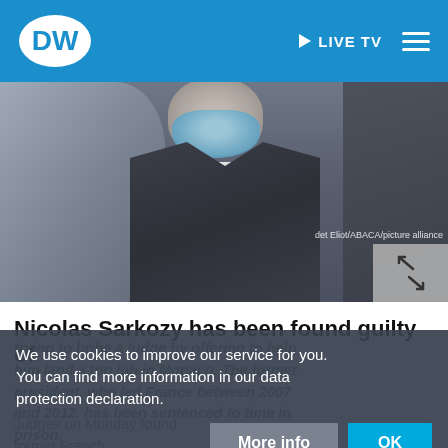DW | LIVE TV
[Figure (photo): A man in a dark suit and light blue face mask, with blurred figures on either side. Photo credit: Mehdi Eliot/ABACA/picture alliance]
Nicolas Sarkozy has been found guilty of
trying to bribe a judge by offering to help him land a top job in Monaco. The former president, who led France between 2007 and 2012, has been sentenced to time in prison.
We use cookies to improve our service for you. You can find more information in our data protection declaration.
Judges on Monday found former French